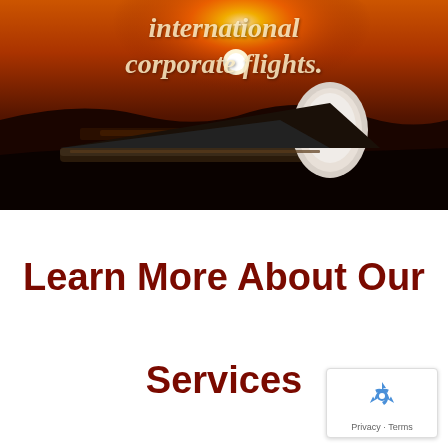[Figure (photo): Sunset aviation photo showing a small plane silhouette against an orange and dark sky with a sun on the horizon, with italic cursive text overlay reading 'international corporate flights.']
Learn More About Our Services
[Figure (logo): Google reCAPTCHA badge with recycling arrow icon and 'Privacy - Terms' text]